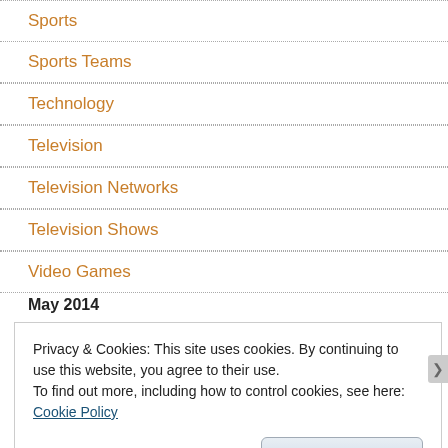Sports
Sports Teams
Technology
Television
Television Networks
Television Shows
Video Games
May 2014
Privacy & Cookies: This site uses cookies. By continuing to use this website, you agree to their use.
To find out more, including how to control cookies, see here: Cookie Policy